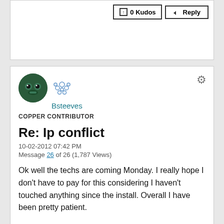[Figure (screenshot): Top portion of a forum post card showing 0 Kudos and Reply buttons]
[Figure (photo): User avatar: green cartoon robot/frog face in circular frame]
[Figure (illustration): Copper contributor badge: blue bubble/dot cluster icon]
Bsteeves
COPPER CONTRIBUTOR
Re: Ip conflict
10-02-2012 07:42 PM
Message 26 of 26 (1,787 Views)
Ok well the techs are coming Monday. I really hope I don't have to pay for this considering I haven't touched anything since the install. Overall I have been pretty patient.
This service interruption leaves a bad taste in my mouth especially given how poorly I was treated with my